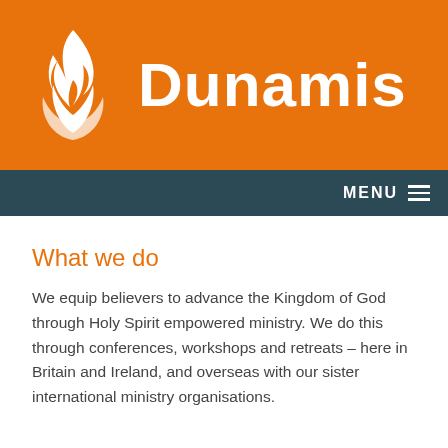[Figure (logo): Dunamis logo: white flame icon on orange background with the word Dunamis in white bold text]
MENU ≡
What we do
We equip believers to advance the Kingdom of God through Holy Spirit empowered ministry. We do this through conferences, workshops and retreats – here in Britain and Ireland, and overseas with our sister international ministry organisations.